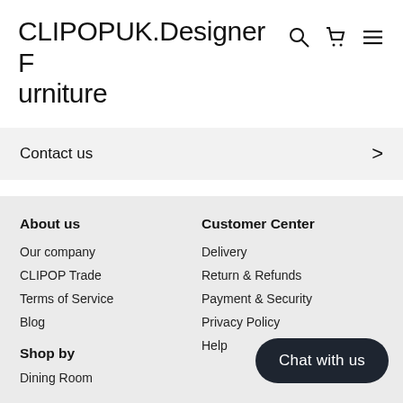CLIPOPUK.Designer Furniture
Contact us
About us
Our company
CLIPOP Trade
Terms of Service
Blog
Customer Center
Delivery
Return & Refunds
Payment & Security
Privacy Policy
Help
Shop by
Dining Room